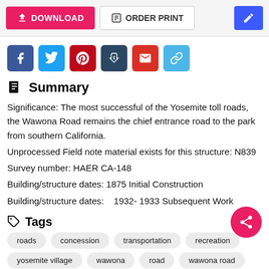[Figure (screenshot): Top navigation bar with DOWNLOAD button (pink), ORDER PRINT button, and edit button (blue)]
[Figure (infographic): Social sharing icons: Facebook (blue), Twitter (light blue), Pinterest (red), Tumblr (dark blue), Gmail (red), link/chain (light blue)]
Summary
Significance: The most successful of the Yosemite toll roads, the Wawona Road remains the chief entrance road to the park from southern California.
Unprocessed Field note material exists for this structure: N839
Survey number: HAER CA-148
Building/structure dates: 1875 Initial Construction
Building/structure dates:    1932- 1933 Subsequent Work
Tags
roads
concession
transportation
recreation
yosemite village
wawona
road
wawona road